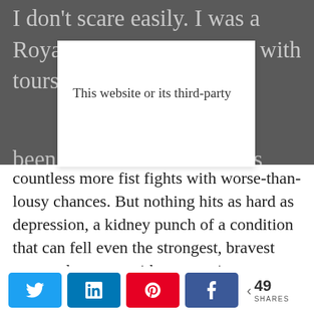I don't scare easily. I was a Royal Marine Commando with tours in
[Figure (screenshot): White modal popup overlay with text: 'This website or its third-party']
been in countless firefights and countless more fist fights with worse-than-lousy chances. But nothing hits as hard as depression, a kidney punch of a condition that can fell even the strongest, bravest men and women without warning.
I'd always prided myself on my inner
[Figure (infographic): Social share bar with Twitter, LinkedIn, Pinterest, Facebook buttons and 49 SHARES count]